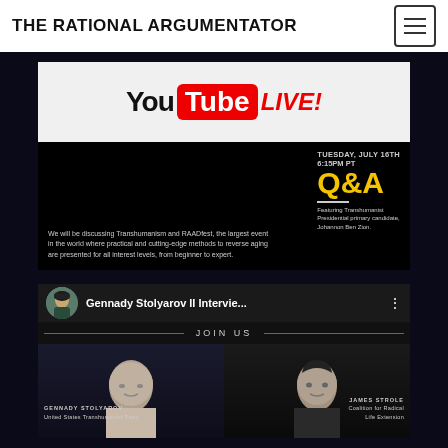THE RATIONAL ARGUMENTATOR
[Figure (screenshot): YouTube LIVE promotional image showing Tuesday July 16th 6:15PM PT Q&A featuring Transhumanist Presidential primary candidate Johannon Ben Zion, discussing Transhumanism and RAADfest]
[Figure (screenshot): YouTube video thumbnail showing Gennady Stolyarov II Interview with Gennady Stolyarov (United States Transhumanist Party) and James Strole (Coalition for Radical Life Extension), with JOIN US header]